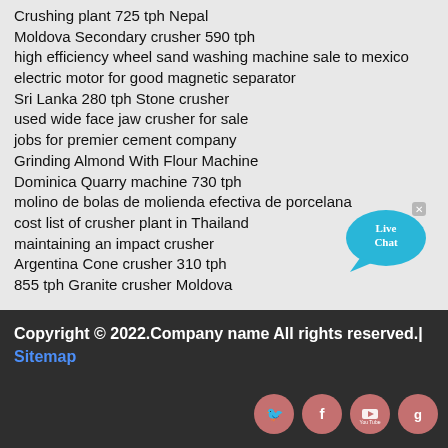Crushing plant 725 tph Nepal
Moldova Secondary crusher 590 tph
high efficiency wheel sand washing machine sale to mexico
electric motor for good magnetic separator
Sri Lanka 280 tph Stone crusher
used wide face jaw crusher for sale
jobs for premier cement company
Grinding Almond With Flour Machine
Dominica Quarry machine 730 tph
molino de bolas de molienda efectiva de porcelana
cost list of crusher plant in Thailand
maintaining an impact crusher
Argentina Cone crusher 310 tph
855 tph Granite crusher Moldova
[Figure (illustration): Live Chat speech bubble widget in cyan/blue color with 'Live Chat' text and an X close button]
Copyright © 2022.Company name All rights reserved.| Sitemap
[Figure (illustration): Social media icons: Twitter, Facebook, YouTube, Google+ as pink circular buttons]